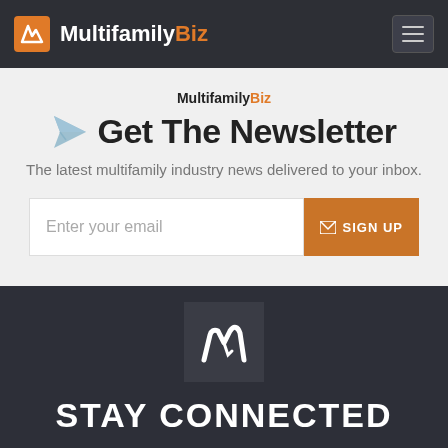MultifamilyBiz
MultifamilyBiz
Get The Newsletter
The latest multifamily industry news delivered to your inbox.
Enter your email  SIGN UP
[Figure (logo): MultifamilyBiz logo icon — white stylized M/pencil mark on dark background]
STAY CONNECTED